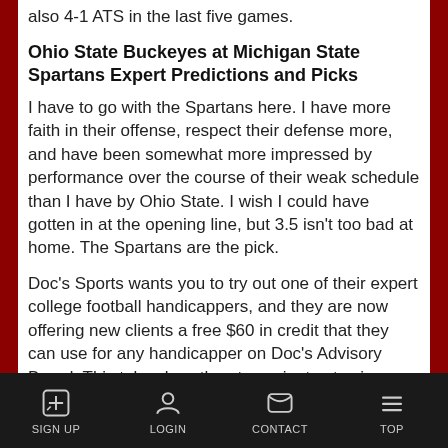also 4-1 ATS in the last five games.
Ohio State Buckeyes at Michigan State Spartans Expert Predictions and Picks
I have to go with the Spartans here. I have more faith in their offense, respect their defense more, and have been somewhat more impressed by performance over the course of their weak schedule than I have by Ohio State. I wish I could have gotten in at the opening line, but 3.5 isn't too bad at home. The Spartans are the pick.
Doc's Sports wants you to try out one of their expert college football handicappers, and they are now offering new clients a free $60 in credit that they can use for any handicapper on Doc's Advisory Board. This takes less than two minutes to sign up, and there is no credit card needed and no salesmen to deal with. Get your free college football picks now.
SIGN UP  LOGIN  CONTACT  TOP